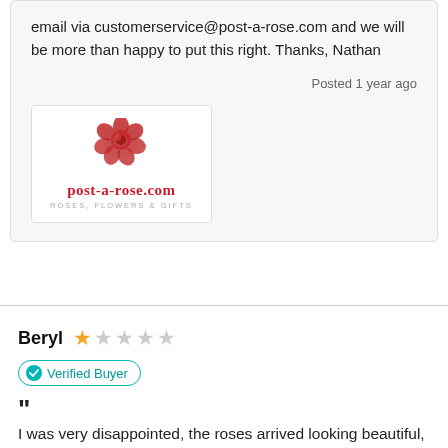email via customerservice@post-a-rose.com and we will be more than happy to put this right. Thanks, Nathan
Posted 1 year ago
[Figure (logo): post-a-rose.com logo with red rose graphic and tagline ROSES, FLOWERS & GIFTS]
Beryl ★☆☆☆☆
Verified Buyer
“ I was very disappointed, the roses arrived looking beautiful, but there was no water in the bottom, and the box was bone dry. After two days my daughter-in-law rang to say the roses had all